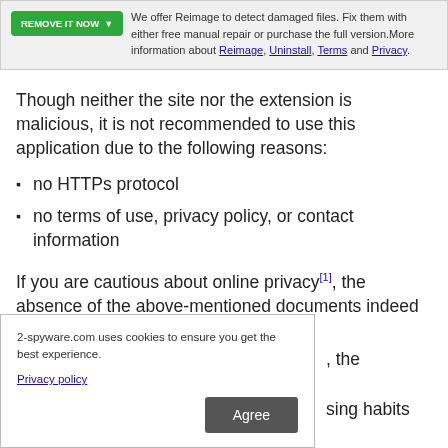We offer Reimage to detect damaged files. Fix them with either free manual repair or purchase the full version.More information about Reimage, Uninstall, Terms and Privacy.
Though neither the site nor the extension is malicious, it is not recommended to use this application due to the following reasons:
no HTTPs protocol
no terms of use, privacy policy, or contact information
If you are cautious about online privacy[1], the absence of the above-mentioned documents indeed sparks doubts
, the extension
sing habits and
2-spyware.com uses cookies to ensure you get the best experience.
Privacy policy
Agree